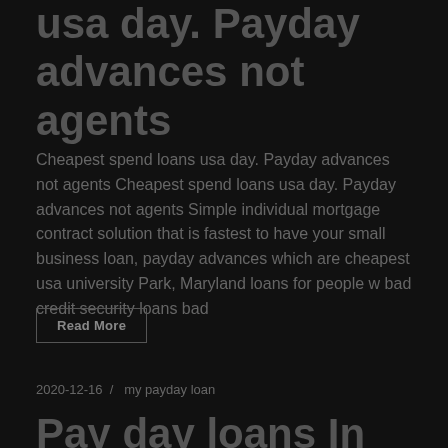usa day. Payday advances not agents
Cheapest spend loans usa day. Payday advances not agents Cheapest spend loans usa day. Payday advances not agents Simple individual mortgage contract solution that is fastest to have your small business loan, payday advances which are cheapest usa university Park, Maryland loans for people w bad credit security loans bad
Read More
2020-12-16  /  my payday loan
Pay day loans In Mesa Az